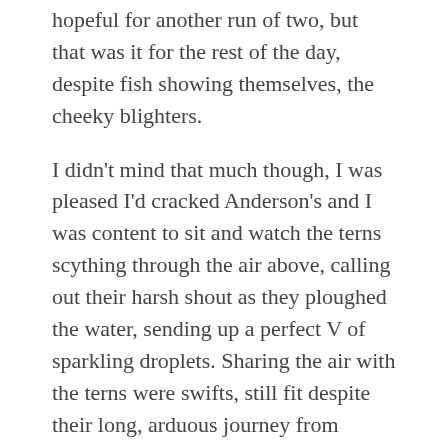hopeful for another run of two, but that was it for the rest of the day, despite fish showing themselves, the cheeky blighters.
I didn't mind that much though, I was pleased I'd cracked Anderson's and I was content to sit and watch the terns scything through the air above, calling out their harsh shout as they ploughed the water, sending up a perfect V of sparkling droplets. Sharing the air with the terns were swifts, still fit despite their long, arduous journey from Africa.
I once knocked out a swift, as I cast a Driftbeater float out into a lake somewhere in Surrey. Poor little sod chose the very moment I cast to fly just above me and caught the rod full in the face. Naturally, I thought I'd killed it and was mortified. I laid his little body on the grass under a nearby